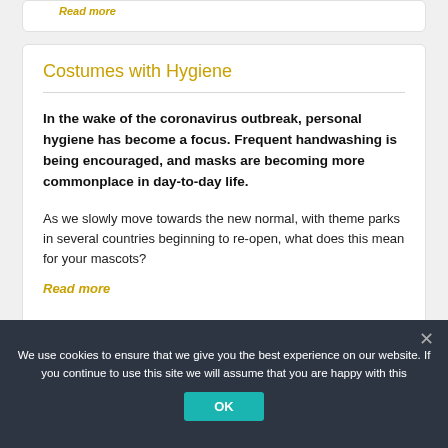Read more
Costumes with Hygiene
In the wake of the coronavirus outbreak, personal hygiene has become a focus. Frequent handwashing is being encouraged, and masks are becoming more commonplace in day-to-day life.
As we slowly move towards the new normal, with theme parks in several countries beginning to re-open, what does this mean for your mascots?
Read more
We use cookies to ensure that we give you the best experience on our website. If you continue to use this site we will assume that you are happy with this